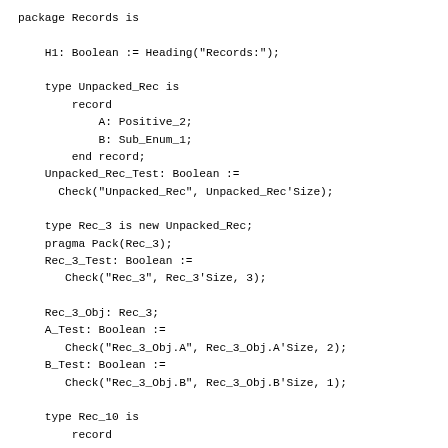package Records is

    H1: Boolean := Heading("Records:");

    type Unpacked_Rec is
        record
            A: Positive_2;
            B: Sub_Enum_1;
        end record;
    Unpacked_Rec_Test: Boolean :=
      Check("Unpacked_Rec", Unpacked_Rec'Size);

    type Rec_3 is new Unpacked_Rec;
    pragma Pack(Rec_3);
    Rec_3_Test: Boolean :=
       Check("Rec_3", Rec_3'Size, 3);

    Rec_3_Obj: Rec_3;
    A_Test: Boolean :=
       Check("Rec_3_Obj.A", Rec_3_Obj.A'Size, 2);
    B_Test: Boolean :=
       Check("Rec_3_Obj.B", Rec_3_Obj.B'Size, 1);

    type Rec_10 is
        record
            B1, B2, B3, B4, B5, B6, B7, B8, B9, B10: Boo
        end record;
    pragma Pack(Rec_10);
    Rec_10_Test: Boolean :=
       Check("Rec_10", Rec_10'Size, 10);